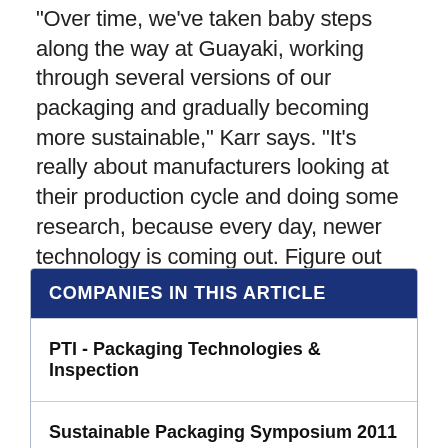“Over time, we’ve taken baby steps along the way at Guayaki, working through several versions of our packaging and gradually becoming more sustainable,” Karr says. “It’s really about manufacturers looking at their production cycle and doing some research, because every day, newer technology is coming out. Figure out what you can do, when you can do it, and how much you can do. Every little bit helps.”
| COMPANIES IN THIS ARTICLE |
| --- |
| PTI - Packaging Technologies & Inspection |
| Sustainable Packaging Symposium 2011 |